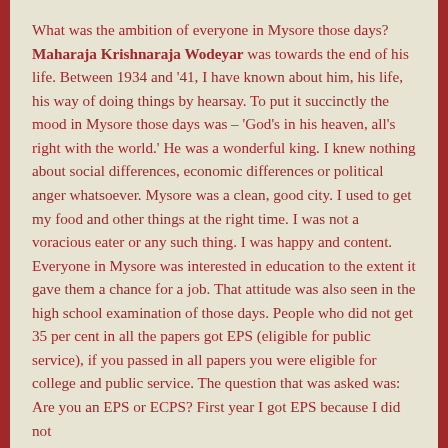What was the ambition of everyone in Mysore those days? Maharaja Krishnaraja Wodeyar was towards the end of his life. Between 1934 and '41, I have known about him, his life, his way of doing things by hearsay. To put it succinctly the mood in Mysore those days was – 'God's in his heaven, all's right with the world.' He was a wonderful king. I knew nothing about social differences, economic differences or political anger whatsoever. Mysore was a clean, good city. I used to get my food and other things at the right time. I was not a voracious eater or any such thing. I was happy and content. Everyone in Mysore was interested in education to the extent it gave them a chance for a job. That attitude was also seen in the high school examination of those days. People who did not get 35 per cent in all the papers got EPS (eligible for public service), if you passed in all papers you were eligible for college and public service. The question that was asked was: Are you an EPS or ECPS? First year I got EPS because I did not